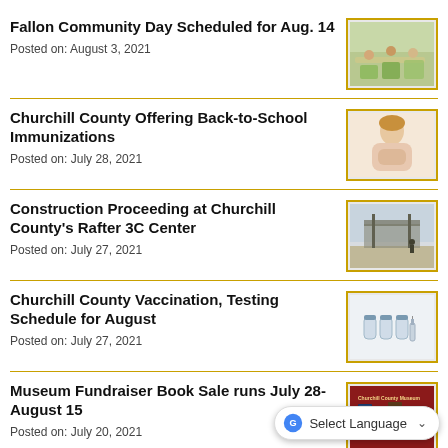Fallon Community Day Scheduled for Aug. 14
Posted on: August 3, 2021
[Figure (photo): Children sitting at tables, classroom or activity setting]
Churchill County Offering Back-to-School Immunizations
Posted on: July 28, 2021
[Figure (photo): Child receiving vaccination or looking at arm]
Construction Proceeding at Churchill County's Rafter 3C Center
Posted on: July 27, 2021
[Figure (photo): Construction site with structures in the background]
Churchill County Vaccination, Testing Schedule for August
Posted on: July 27, 2021
[Figure (photo): Vaccine vials and syringes on white background]
Museum Fundraiser Book Sale runs July 28-August 15
Posted on: July 20, 2021
[Figure (photo): Churchill County Museum book sale promotional image with books on dark red background]